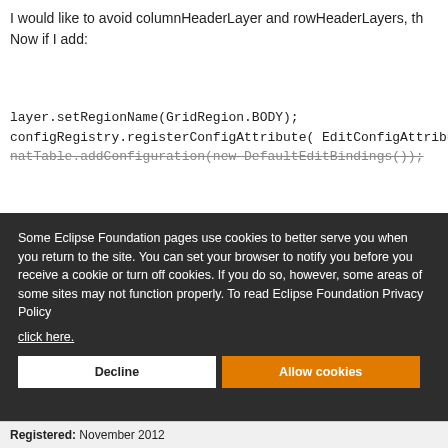I would like to avoid columnHeaderLayer and rowHeaderLayers, th
Now if I add:
layer.setRegionName(GridRegion.BODY);
configRegistry.registerConfigAttribute( EditConfigAttributes.CEL
natTable.addConfiguration(new DefaultEditBindings());
[Figure (screenshot): Cookie consent overlay with dark background. Text reads: 'Some Eclipse Foundation pages use cookies to better serve you when you return to the site. You can set your browser to notify you before you receive a cookie or turn off cookies. If you do so, however, some areas of some sites may not function properly. To read Eclipse Foundation Privacy Policy click here.' Two buttons: 'Decline' (white) and 'Allow cookies' (orange).]
message
Registered: November 2012